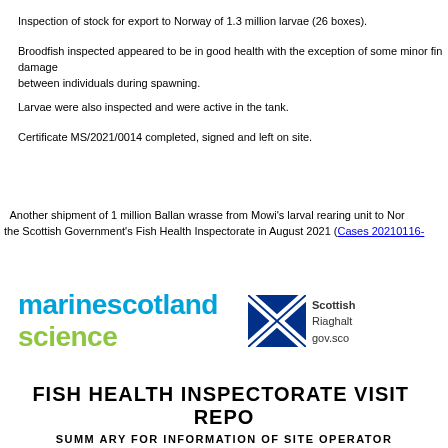Inspection of stock for export to Norway of 1.3 million larvae (26 boxes).
Broodfish inspected appeared to be in good health with the exception of some minor fin damage between individuals during spawning.
Larvae were also inspected and were active in the tank.
Certificate MS/2021/0014 completed, signed and left on site.
Another shipment of 1 million Ballan wrasse from Mowi's larval rearing unit to Norway was inspected by the Scottish Government's Fish Health Inspectorate in August 2021 (Cases 20210116-...
[Figure (logo): Marine Scotland Science logo and Scottish Government logo with saltire]
FISH HEALTH INSPECTORATE VISIT REPORT
SUMMARY FOR INFORMATION OF SITE OPERATOR